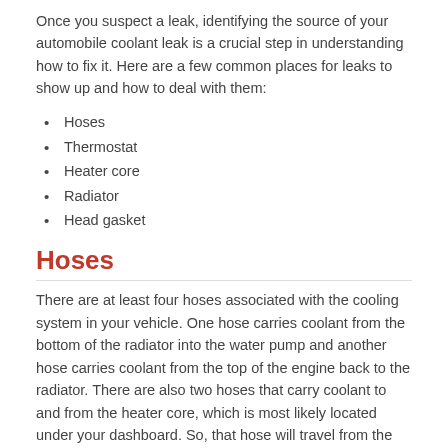Once you suspect a leak, identifying the source of your automobile coolant leak is a crucial step in understanding how to fix it. Here are a few common places for leaks to show up and how to deal with them:
Hoses
Thermostat
Heater core
Radiator
Head gasket
Hoses
There are at least four hoses associated with the cooling system in your vehicle. One hose carries coolant from the bottom of the radiator into the water pump and another hose carries coolant from the top of the engine back to the radiator. There are also two hoses that carry coolant to and from the heater core, which is most likely located under your dashboard. So, that hose will travel from the motor back to the firewall or the rear of the engine bay.
Overtime, due to heat and age, the ends of those hoses can become brittle and begin to crack where they are attached causing small leaks. In this case, the best thing